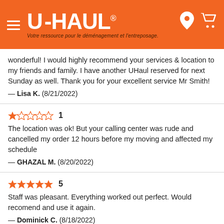U-HAUL — Votre ressource pour le déménagement et l'entreposage.
wonderful! I would highly recommend your services & location to my friends and family. I have another UHaul reserved for next Sunday as well. Thank you for your excellent service Mr Smith!
— Lisa K.  (8/21/2022)
★☆☆☆☆ 1
The location was ok! But your calling center was rude and cancelled my order 12 hours before my moving and affected my schedule
— GHAZAL M.  (8/20/2022)
★★★★★ 5
Staff was pleasant. Everything worked out perfect. Would recomend and use it again.
— Dominick C.  (8/18/2022)